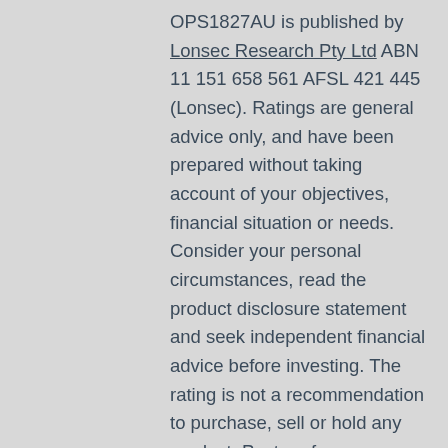OPS1827AU is published by Lonsec Research Pty Ltd ABN 11 151 658 561 AFSL 421 445 (Lonsec). Ratings are general advice only, and have been prepared without taking account of your objectives, financial situation or needs. Consider your personal circumstances, read the product disclosure statement and seek independent financial advice before investing. The rating is not a recommendation to purchase, sell or hold any product. Past performance information is not indicative of future performance. Ratings are subject to change without notice and Lonsec assumes no obligation to update. Lonsec uses objective criteria and receives a fee from the Fund Manager. Visit lonsec.com.au for ratings